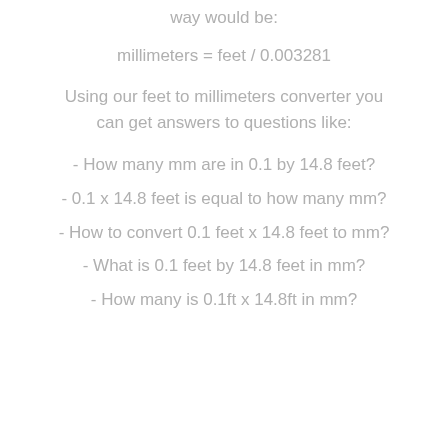way would be:
Using our feet to millimeters converter you can get answers to questions like:
- How many mm are in 0.1 by 14.8 feet?
- 0.1 x 14.8 feet is equal to how many mm?
- How to convert 0.1 feet x 14.8 feet to mm?
- What is 0.1 feet by 14.8 feet in mm?
- How many is 0.1ft x 14.8ft in mm?